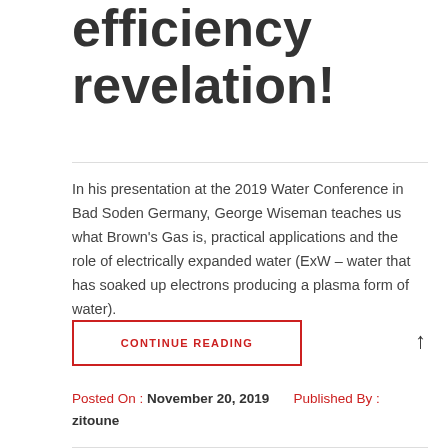efficiency revelation!
In his presentation at the 2019 Water Conference in Bad Soden Germany, George Wiseman teaches us what Brown's Gas is, practical applications and the role of electrically expanded water (ExW – water that has soaked up electrons producing a plasma form of water).
CONTINUE READING
Posted On : November 20, 2019   Published By : zitoune